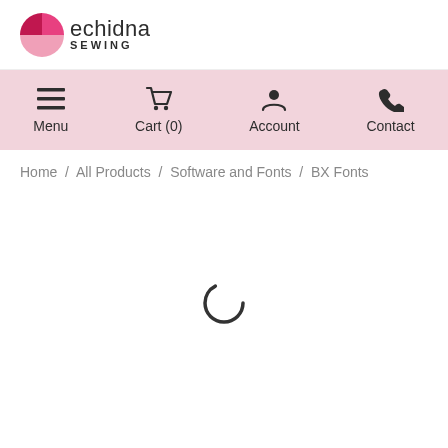[Figure (logo): Echidna Sewing logo with pink pie-chart style icon and text 'echidna SEWING']
[Figure (screenshot): Pink navigation bar with Menu, Cart (0), Account, and Contact icons]
Home / All Products / Software and Fonts / BX Fonts
[Figure (other): Loading spinner (circular progress indicator)]